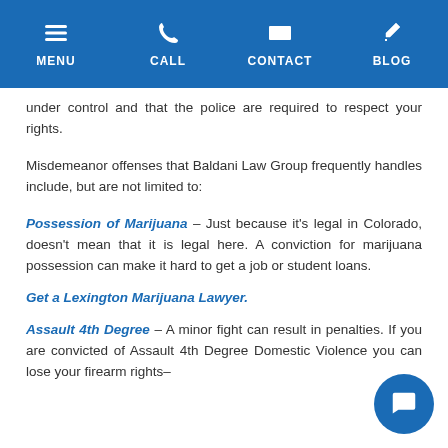MENU  CALL  CONTACT  BLOG
under control and that the police are required to respect your rights.
Misdemeanor offenses that Baldani Law Group frequently handles include, but are not limited to:
Possession of Marijuana – Just because it's legal in Colorado, doesn't mean that it is legal here. A conviction for marijuana possession can make it hard to get a job or student loans.
Get a Lexington Marijuana Lawyer.
Assault 4th Degree – A minor fight can result in penalties. If you are convicted of Assault 4th Degree Domestic Violence you can lose your firearm rights–